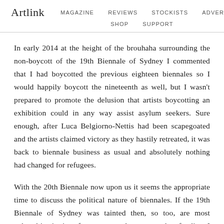Artlink  MAGAZINE  REVIEWS  STOCKISTS  ADVERTISE  SHOP  SUPPORT
In early 2014 at the height of the brouhaha surrounding the non-boycott of the 19th Biennale of Sydney I commented that I had boycotted the previous eighteen biennales so I would happily boycott the nineteenth as well, but I wasn't prepared to promote the delusion that artists boycotting an exhibition could in any way assist asylum seekers. Sure enough, after Luca Belgiorno-Nettis had been scapegoated and the artists claimed victory as they hastily retreated, it was back to biennale business as usual and absolutely nothing had changed for refugees.
With the 20th Biennale now upon us it seems the appropriate time to discuss the political nature of biennales. If the 19th Biennale of Sydney was tainted then, so too, are most cultural institutions for more complex reasons than funding. I want to look more closely at this strained